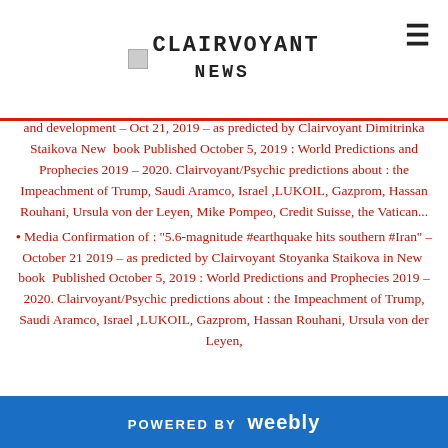CLAIRVOYANT NEWS
and development – Oct 21, 2019 – as predicted by Clairvoyant Dimitrinka Staikova New book Published October 5, 2019 : World Predictions and Prophecies 2019 – 2020. Clairvoyant/Psychic predictions about : the Impeachment of Trump, Saudi Aramco, Israel ,LUKOIL, Gazprom, Hassan Rouhani, Ursula von der Leyen, Mike Pompeo, Credit Suisse, the Vatican...
Media Confirmation of : ''5.6-magnitude #earthquake hits southern #Iran'' – October 21 2019 – as predicted by Clairvoyant Stoyanka Staikova in New book Published October 5, 2019 : World Predictions and Prophecies 2019 – 2020. Clairvoyant/Psychic predictions about : the Impeachment of Trump, Saudi Aramco, Israel ,LUKOIL, Gazprom, Hassan Rouhani, Ursula von der Leyen,
POWERED BY weebly